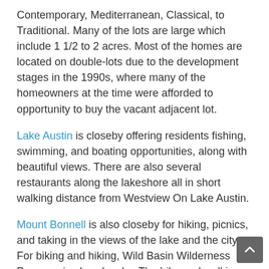Contemporary, Mediterranean, Classical, to Traditional. Many of the lots are large which include 1 1/2 to 2 acres. Most of the homes are located on double-lots due to the development stages in the 1990s, where many of the homeowners at the time were afforded to opportunity to buy the vacant adjacent lot.
Lake Austin is closeby offering residents fishing, swimming, and boating opportunities, along with beautiful views. There are also several restaurants along the lakeshore all in short walking distance from Westview On Lake Austin.
Mount Bonnell is also closeby for hiking, picnics, and taking in the views of the lake and the city. For biking and hiking, Wild Basin Wilderness Preserve is also closeby. The bike and walking trail start from Westview On Lake Austin to a leash-free dog park and downtown